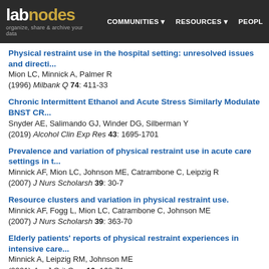labnodes | COMMUNITIES | RESOURCES | PEOPLE | organize, share & archive your data
Physical restraint use in the hospital setting: unresolved issues and directi...
Mion LC, Minnick A, Palmer R
(1996) Milbank Q 74: 411-33
Chronic Intermittent Ethanol and Acute Stress Similarly Modulate BNST CR...
Snyder AE, Salimando GJ, Winder DG, Silberman Y
(2019) Alcohol Clin Exp Res 43: 1695-1701
Prevalence and variation of physical restraint use in acute care settings in t...
Minnick AF, Mion LC, Johnson ME, Catrambone C, Leipzig R
(2007) J Nurs Scholarsh 39: 30-7
Resource clusters and variation in physical restraint use.
Minnick AF, Fogg L, Mion LC, Catrambone C, Johnson ME
(2007) J Nurs Scholarsh 39: 363-70
Elderly patients' reports of physical restraint experiences in intensive care...
Minnick A, Leipzig RM, Johnson ME
(2001) Am J Crit Care 10: 168-71
Prevalence and patterns of physical restraint use in the acute care setting.
Minnick AF, Mion LC, Leipzig R, Lamb K, Palmer RM
(1998) J Nurs Adm 28: 19-24